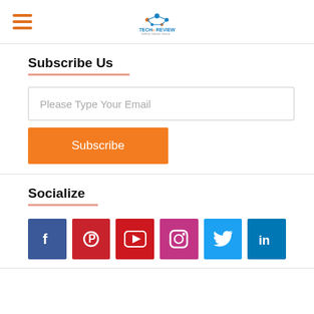TechinReview — Topics, Tricks, Tools
Subscribe Us
Please Type Your Email
Subscribe
Socialize
[Figure (infographic): Social media icons: Facebook, Pinterest, YouTube, Instagram, Twitter, LinkedIn]